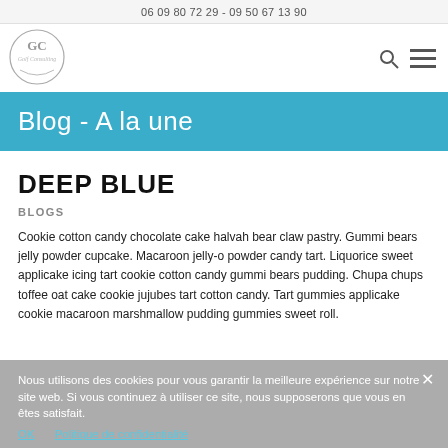06 09 80 72 29 - 09 50 67 13 90
[Figure (logo): Golf Consulting circular logo with GC monogram and cursive text]
Blog - A la une
DEEP BLUE
BLOGS
Cookie cotton candy chocolate cake halvah bear claw pastry. Gummi bears jelly powder cupcake. Macaroon jelly-o powder candy tart. Liquorice sweet applicake icing tart cookie cotton candy gummi bears pudding. Chupa chups toffee oat cake cookie jujubes tart cotton candy. Tart gummies applicake cookie macaroon marshmallow pudding gummies sweet roll.
Nous utilisons des cookies pour vous garantir la meilleure expérience sur notre site web. Si vous continuez à utiliser ce site, nous supposerons que vous en êtes satisfait.